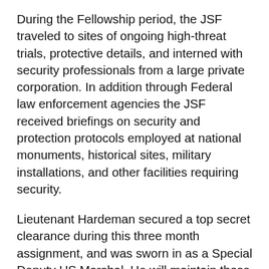During the Fellowship period, the JSF traveled to sites of ongoing high-threat trials, protective details, and interned with security professionals from a large private corporation. In addition through Federal law enforcement agencies the JSF received briefings on security and protection protocols employed at national monuments, historical sites, military installations, and other facilities requiring security.
Lieutenant Hardeman secured a top secret clearance during this three month assignment, and was sworn in as a Special Deputy US Marshal. He will maintain those credentials and the Prince William County Sheriff's Office will continue to partner with the USMS by assisting with courthouse security assessments throughout the region and around the nation. All costs associated with any training, travel, or lodging during these assessments will be paid for by the USMS.